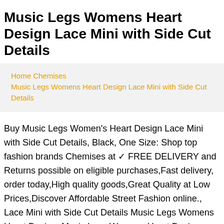Music Legs Womens Heart Design Lace Mini with Side Cut Details
Home Chemises
Music Legs Womens Heart Design Lace Mini with Side Cut Details
Buy Music Legs Women's Heart Design Lace Mini with Side Cut Details, Black, One Size: Shop top fashion brands Chemises at ✓ FREE DELIVERY and Returns possible on eligible purchases,Fast delivery, order today,High quality goods,Great Quality at Low Prices,Discover Affordable Street Fashion online., Lace Mini with Side Cut Details Music Legs Womens Heart Design, Music Legs Womens Heart Design Lace Mini with Side Cut Details, Heart Design Lace Mini with